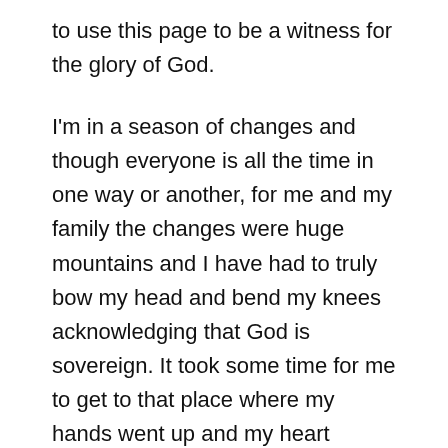to use this page to be a witness for the glory of God.
I'm in a season of changes and though everyone is all the time in one way or another, for me and my family the changes were huge mountains and I have had to truly bow my head and bend my knees acknowledging that God is sovereign. It took some time for me to get to that place where my hands went up and my heart became a childs. But God answers and He is faithful and loving and wonderful… and I am emerging on the other side of these huge mountains because He has moved them for me. I'm coming out of my season of changes…